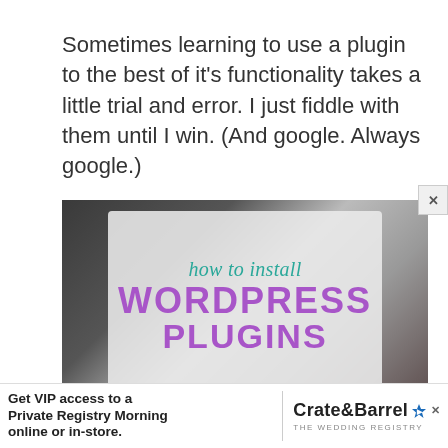Sometimes learning to use a plugin to the best of it's functionality takes a little trial and error. I just fiddle with them until I win. (And google. Always google.)
[Figure (photo): Promotional image over a keyboard background showing text: 'how to install WORDPRESS PLUGINS' in teal script and purple bold lettering on a light overlay panel.]
Get VIP access to a Private Registry Morning online or in-store. Crate&Barrel THE WEDDING REGISTRY